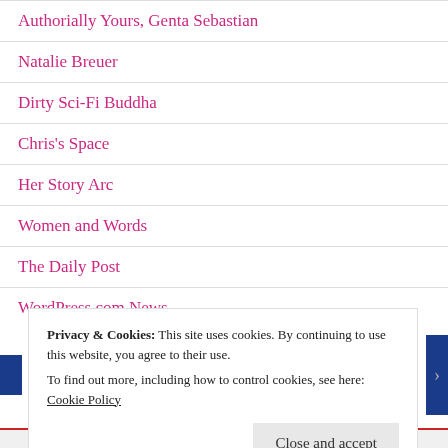Authorially Yours, Genta Sebastian
Natalie Breuer
Dirty Sci-Fi Buddha
Chris's Space
Her Story Arc
Women and Words
The Daily Post
WordPress.com News
Privacy & Cookies: This site uses cookies. By continuing to use this website, you agree to their use. To find out more, including how to control cookies, see here: Cookie Policy
Close and accept